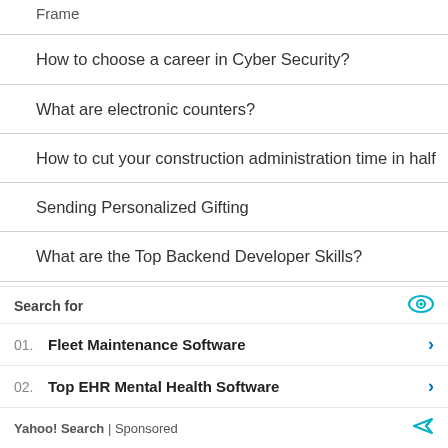Frame
How to choose a career in Cyber Security?
What are electronic counters?
How to cut your construction administration time in half
Sending Personalized Gifting
What are the Top Backend Developer Skills?
How to Find the Best Educational Psychologist in
[Figure (infographic): Yahoo Search sponsored ad overlay with Search for header, two ad entries: 01. Fleet Maintenance Software and 02. Top EHR Mental Health Software, with arrow icons, and a Yahoo! Search | Sponsored footer.]